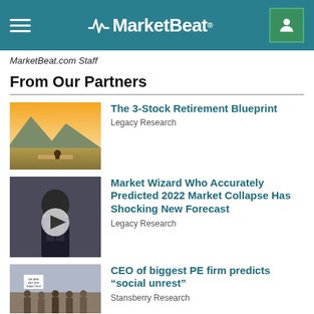MarketBeat
MarketBeat.com Staff
From Our Partners
[Figure (photo): Scenic mountain lake at sunset with person sitting on dock]
The 3-Stock Retirement Blueprint
Legacy Research
[Figure (photo): Man in suit sitting, video thumbnail with play button overlay]
Market Wizard Who Accurately Predicted 2022 Market Collapse Has Shocking New Forecast
Legacy Research
[Figure (photo): Protest crowd with signs outdoors]
CEO of biggest PE firm predicts “social unrest”
Stansberry Research